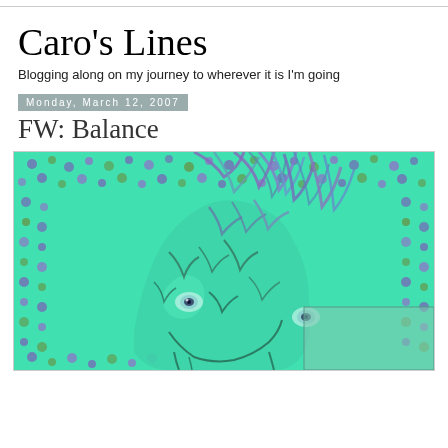Caro's Lines
Blogging along on my journey to wherever it is I'm going
Monday, March 12, 2007
FW: Balance
[Figure (illustration): Digital illustration of a stylized horse face with swirling teal/green marbled patterns and a dotted purple/teal background in a pop-art style]